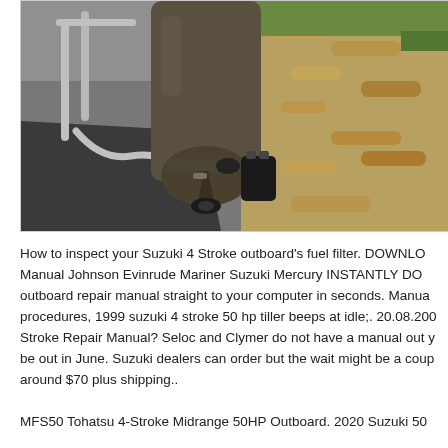[Figure (photo): Photo of an outboard motor lower unit (gear case/skeg area) placed on a concrete surface with autumn leaves and grass visible in the background. A metal stand or bracket supports the unit.]
How to inspect your Suzuki 4 Stroke outboard's fuel filter. DOWNLO Manual Johnson Evinrude Mariner Suzuki Mercury INSTANTLY DO outboard repair manual straight to your computer in seconds. Manua procedures, 1999 suzuki 4 stroke 50 hp tiller beeps at idle;. 20.08.200 Stroke Repair Manual? Seloc and Clymer do not have a manual out y be out in June. Suzuki dealers can order but the wait might be a coup around $70 plus shipping..
MFS50 Tohatsu 4-Stroke Midrange 50HP Outboard. 2020 Suzuki 50